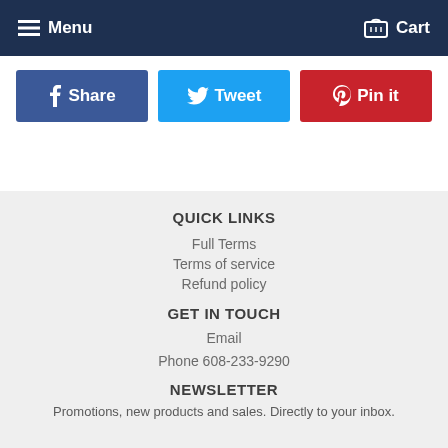Menu  Cart
[Figure (other): Social share buttons: Share (Facebook), Tweet (Twitter), Pin it (Pinterest)]
QUICK LINKS
Full Terms
Terms of service
Refund policy
GET IN TOUCH
Email
Phone 608-233-9290
NEWSLETTER
Promotions, new products and sales. Directly to your inbox.